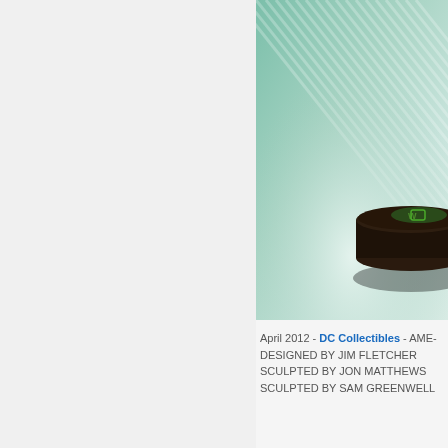[Figure (photo): Product photo of a dark circular collectible/puck with a green logo on top, set against a teal/green gradient striped background with soft light reflection.]
April 2012 - DC Collectibles - AME- DESIGNED BY JIM FLETCHER SCULPTED BY JON MATTHEWS SCULPTED BY SAM GREENWELL